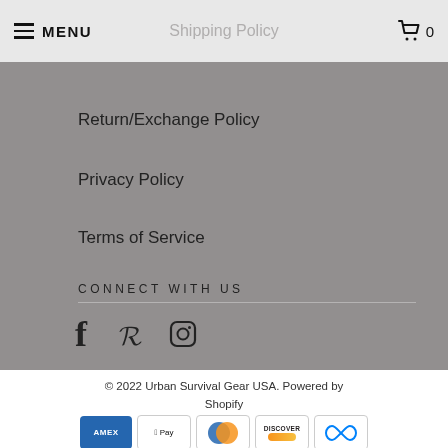MENU | 0
Return/Exchange Policy
Privacy Policy
Terms of Service
CONNECT WITH US
[Figure (illustration): Social media icons: Facebook, Pinterest, Instagram]
© 2022 Urban Survival Gear USA. Powered by Shopify
[Figure (illustration): Payment method icons: AMEX, Apple Pay, Diners Club, Discover, Meta Pay]